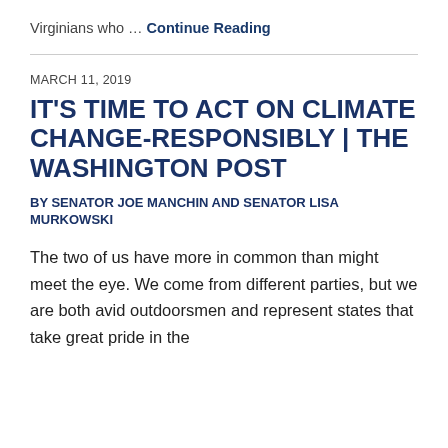Virginians who … Continue Reading
IT'S TIME TO ACT ON CLIMATE CHANGE-RESPONSIBLY | THE WASHINGTON POST
BY SENATOR JOE MANCHIN AND SENATOR LISA MURKOWSKI
The two of us have more in common than might meet the eye. We come from different parties, but we are both avid outdoorsmen and represent states that take great pride in the